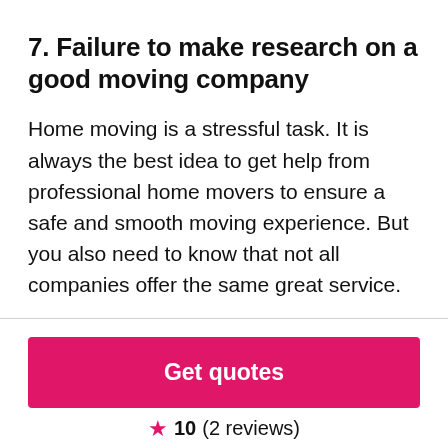7. Failure to make research on a good moving company
Home moving is a stressful task. It is always the best idea to get help from professional home movers to ensure a safe and smooth moving experience. But you also need to know that not all companies offer the same great service.
[Figure (other): Pink/red 'Get quotes' call-to-action button]
★ 10 (2 reviews)